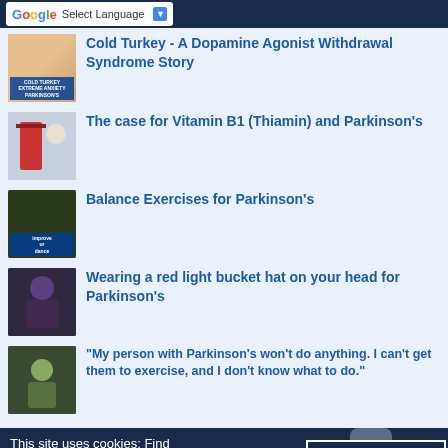Select Language
Cold Turkey - A Dopamine Agonist Withdrawal Syndrome Story
The case for Vitamin B1 (Thiamin) and Parkinson's
Balance Exercises for Parkinson's
Wearing a red light bucket hat on your head for Parkinson's
"My person with Parkinson's won't do anything. I can't get them to exercise, and I don't know what to do."
This site uses cookies: Find out
OKAY, THANKS